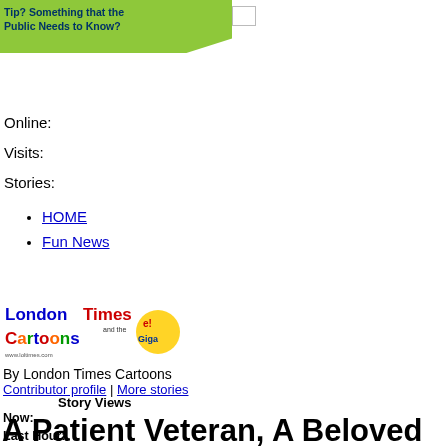[Figure (illustration): Green speech bubble banner with text 'Tip? Something that the Public Needs to Know?' and a small broken image icon to the right]
Online:
Visits:
Stories:
HOME
Fun News
[Figure (logo): London Times Cartoons logo with colorful text]
By London Times Cartoons
Contributor profile | More stories
Story Views
Now:
Last Hour:
Last 24 Hours:
Total:
A Patient Veteran, A Beloved